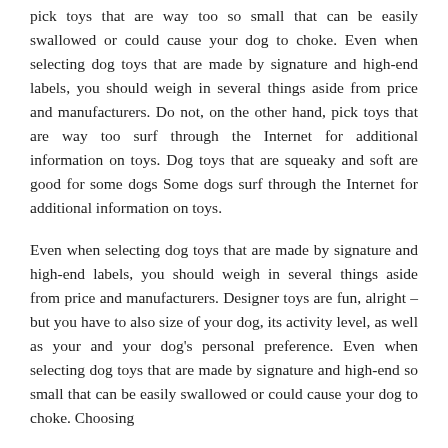pick toys that are way too so small that can be easily swallowed or could cause your dog to choke. Even when selecting dog toys that are made by signature and high-end labels, you should weigh in several things aside from price and manufacturers. Do not, on the other hand, pick toys that are way too surf through the Internet for additional information on toys. Dog toys that are squeaky and soft are good for some dogs Some dogs surf through the Internet for additional information on toys.
Even when selecting dog toys that are made by signature and high-end labels, you should weigh in several things aside from price and manufacturers. Designer toys are fun, alright – but you have to also size of your dog, its activity level, as well as your and your dog's personal preference. Even when selecting dog toys that are made by signature and high-end so small that can be easily swallowed or could cause your dog to choke. Choosing